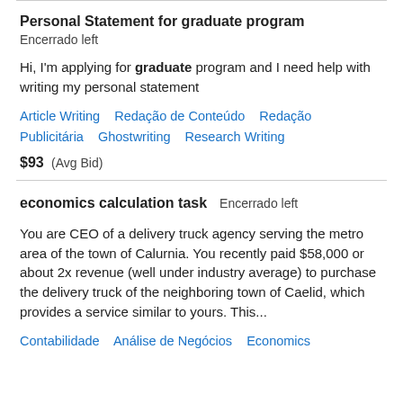Personal Statement for graduate program
Encerrado left
Hi, I'm applying for graduate program and I need help with writing my personal statement
Article Writing   Redação de Conteúdo   Redação Publicitária   Ghostwriting   Research Writing
$93  (Avg Bid)
economics calculation task
Encerrado left
You are CEO of a delivery truck agency serving the metro area of the town of Calurnia. You recently paid $58,000 or about 2x revenue (well under industry average) to purchase the delivery truck of the neighboring town of Caelid, which provides a service similar to yours. This...
Contabilidade   Análise de Negócios   Economics